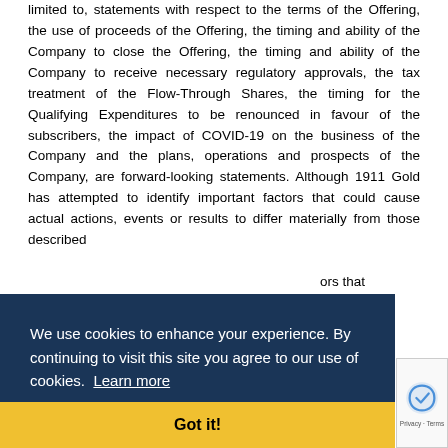limited to, statements with respect to the terms of the Offering, the use of proceeds of the Offering, the timing and ability of the Company to close the Offering, the timing and ability of the Company to receive necessary regulatory approvals, the tax treatment of the Flow-Through Shares, the timing for the Qualifying Expenditures to be renounced in favour of the subscribers, the impact of COVID-19 on the business of the Company and the plans, operations and prospects of the Company, are forward-looking statements. Although 1911 Gold has attempted to identify important factors that could cause actual actions, events or results to differ materially from those described ...ors that ...cipated, ...orward- ...ults and ...ated in
[Figure (other): Cookie consent banner with dark navy blue background. Text reads: 'We use cookies to enhance your experience. By continuing to visit this site you agree to our use of cookies. Learn more'. Below is a yellow bar with 'Got it!' button text.]